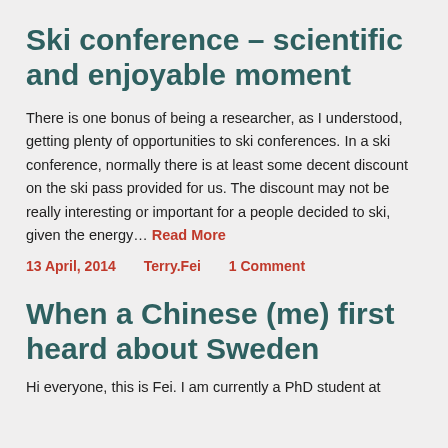Ski conference – scientific and enjoyable moment
There is one bonus of being a researcher, as I understood, getting plenty of opportunities to ski conferences. In a ski conference, normally there is at least some decent discount on the ski pass provided for us. The discount may not be really interesting or important for a people decided to ski, given the energy… Read More
13 April, 2014    Terry.Fei    1 Comment
When a Chinese (me) first heard about Sweden
Hi everyone, this is Fei. I am currently a PhD student at